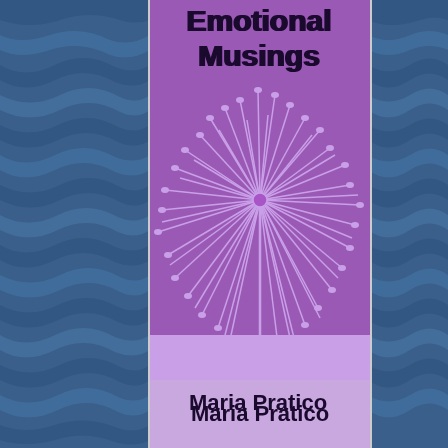[Figure (illustration): Book cover for 'Emotional Musings' by Maria Pratico. The cover features a purple background with a large stylized dandelion illustration in lighter purple/lavender tones. The title 'Emotional Musings' appears in bold dark text at the top of the cover, and the author name 'Maria Pratico' appears in bold dark text at the bottom on a light purple strip. The cover is flanked on both sides by a blue wavy/marbled background.]
Emotional Musings
Maria Pratico